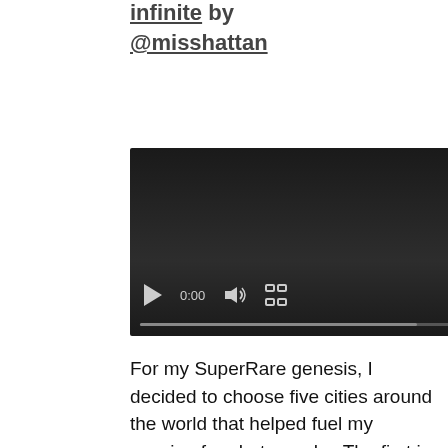infinite by @misshattan
[Figure (screenshot): Video player with black background showing 0:00 timestamp, play button, volume icon, fullscreen icon, more options icon, and a progress bar at the bottom.]
For my SuperRare genesis, I decided to choose five cities around the world that helped fuel my passion for photography. The first is Dubai, a place I would've never dreamed to explore.